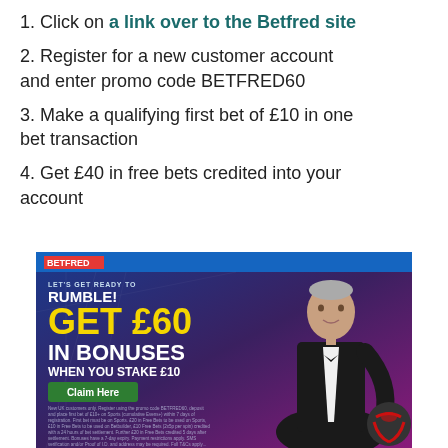1. Click on a link over to the Betfred site
2. Register for a new customer account and enter promo code BETFRED60
3. Make a qualifying first bet of £10 in one bet transaction
4. Get £40 in free bets credited into your account
[Figure (photo): Betfred promotional banner advertisement. Blue and purple background with text 'LET'S GET READY TO RUMBLE! GET £60 IN BONUSES WHEN YOU STAKE £10' in yellow and white. Green 'Claim Here' button. Man in tuxedo holding a football on the right. Small terms and conditions text at bottom. Betfred logo in red at top left.]